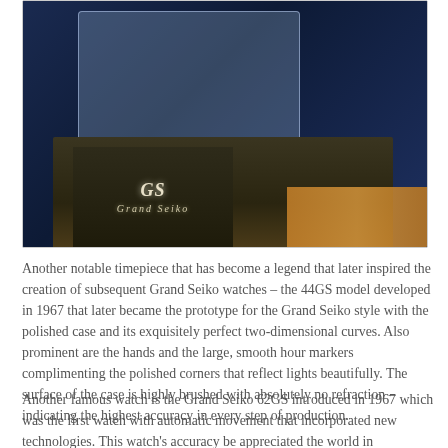[Figure (photo): Interior photo of a Grand Seiko watch boutique display counter. The dark-colored display case shows watches under glass. The front of the counter features the 'GS Grand Seiko' logo in illuminated lettering. A wooden surface is visible on the right side.]
Another notable timepiece that has become a legend that later inspired the creation of subsequent Grand Seiko watches – the 44GS model developed in 1967 that later became the prototype for the Grand Seiko style with the polished case and its exquisitely perfect two-dimensional curves. Also prominent are the hands and the large, smooth hour markers complimenting the polished corners that reflect lights beautifully. The surface of the case is highly brushed with absolutely no refraction – indicating the highest accuracy in every step of production.
Another famous watch is the Grand Seiko 62GS introduced in 1967 which was the first watch with automatic movement that incorporated new technologies. This watch's accuracy be appreciated the world in competition with the multi-format